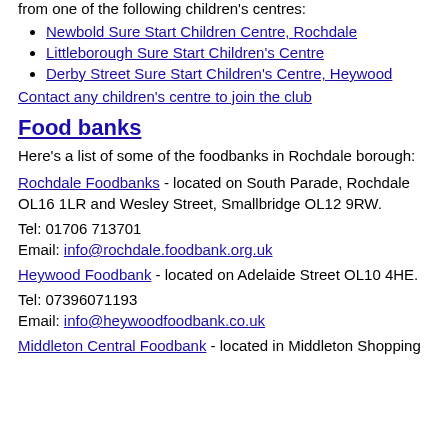from one of the following children's centres:
Newbold Sure Start Children Centre, Rochdale
Littleborough Sure Start Children's Centre
Derby Street Sure Start Children's Centre, Heywood
Contact any children's centre to join the club
Food banks
Here's a list of some of the foodbanks in Rochdale borough:
Rochdale Foodbanks - located on South Parade, Rochdale OL16 1LR and Wesley Street, Smallbridge OL12 9RW.
Tel: 01706 713701
Email: info@rochdale.foodbank.org.uk
Heywood Foodbank - located on Adelaide Street OL10 4HE.
Tel: 07396071193
Email: info@heywoodfoodbank.co.uk
Middleton Central Foodbank - located in Middleton Shopping